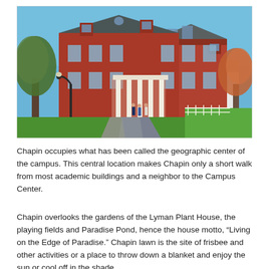[Figure (photo): Exterior photograph of Chapin House, a large red brick collegiate building with white columns and dormer windows, with a paved walkway leading to the entrance, green lawn, and trees on a sunny day. Several people visible near the entrance.]
Chapin occupies what has been called the geographic center of the campus. This central location makes Chapin only a short walk from most academic buildings and a neighbor to the Campus Center.
Chapin overlooks the gardens of the Lyman Plant House, the playing fields and Paradise Pond, hence the house motto, “Living on the Edge of Paradise.” Chapin lawn is the site of frisbee and other activities or a place to throw down a blanket and enjoy the sun or cool off in the shade